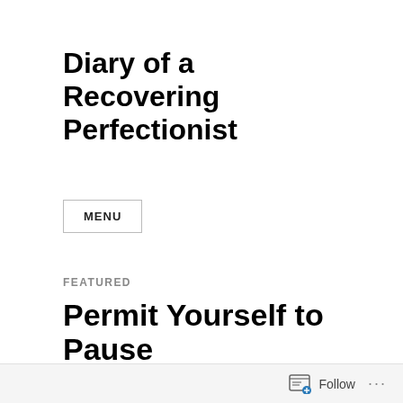Diary of a Recovering Perfectionist
MENU
FEATURED
Permit Yourself to Pause
This article was originally published on Thrive Global on April30, 2021 after taking a short pause from writing.
Follow